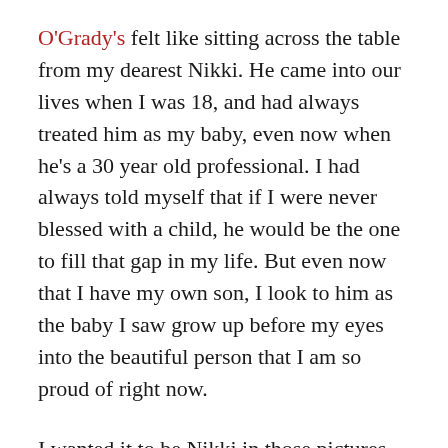O'Grady's felt like sitting across the table from my dearest Nikki.  He came into our lives when I was 18, and had always treated him as my baby, even now when he's a 30 year old professional.  I had always told myself that if I were never blessed with a child, he would be the one to fill that gap in my life.  But even now that I have my own son, I look to him as the baby I saw grow up before my eyes into the beautiful person that I am so proud of right now.
I wanted it to be Nikki in those pictures we shot — and I went all out in the hopes that seeing Romeo here would make him want to come here and join me — finally.
These people were brought into my life here in New